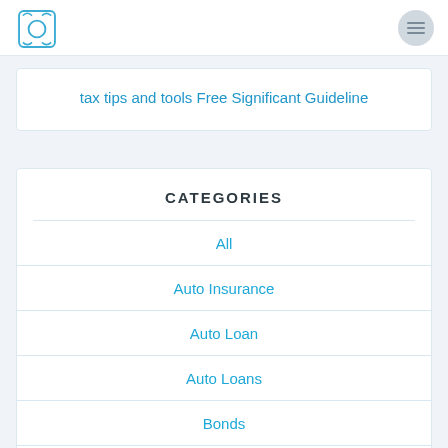tax tips and tools Free Significant Guideline
CATEGORIES
All
Auto Insurance
Auto Loan
Auto Loans
Bonds
Broker
Budgeting